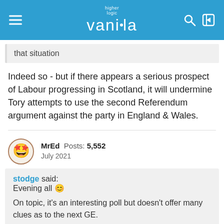higher logic vanilla
that situation
Indeed so - but if there appears a serious prospect of Labour progressing in Scotland, it will undermine Tory attempts to use the second Referendum argument against the party in England & Wales.
MrEd Posts: 5,552 July 2021
stodge said:
Evening all 😊

On topic, it's an interesting poll but doesn't offer many clues as to the next GE.